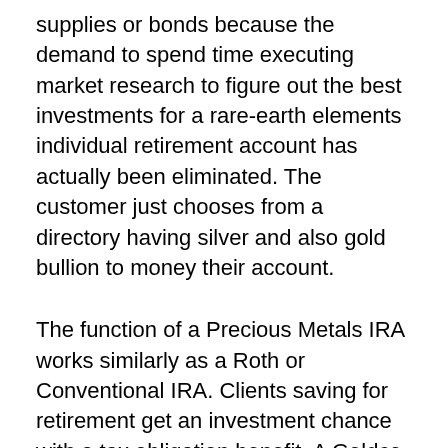supplies or bonds because the demand to spend time executing market research to figure out the best investments for a rare-earth elements individual retirement account has actually been eliminated. The customer just chooses from a directory having silver and also gold bullion to money their account.
The function of a Precious Metals IRA works similarly as a Roth or Conventional IRA. Clients saving for retirement get an investment chance with a tax obligation benefit. A Goldco Gold individual retirement account is a pension making it possible for customers to make an investment in precious metals consisting of physical gold. Both Roth and Conventional Individual retirement account types are available and also